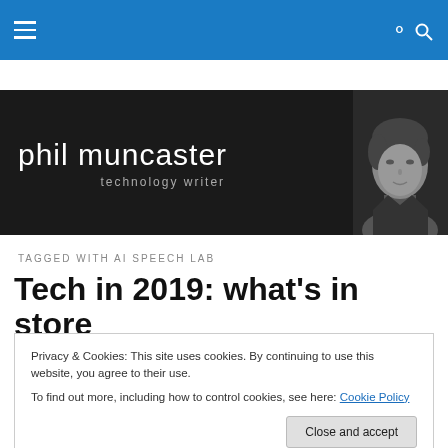Navigation bar with hamburger menu and search icon
[Figure (logo): Phil Muncaster – technology writer banner with black background and black-and-white portrait photo]
TAGGED WITH AI SPEECH LAB
Tech in 2019: what's in store
Privacy & Cookies: This site uses cookies. By continuing to use this website, you agree to their use.
To find out more, including how to control cookies, see here: Cookie Policy
[Close and accept button]